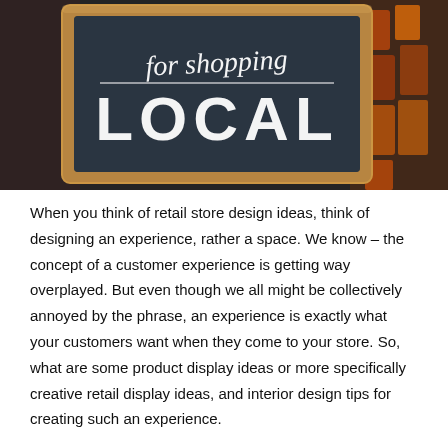[Figure (photo): A chalkboard sign in a wooden frame displayed in a shop window reading 'for shopping LOCAL' in white chalk lettering. The background shows store items and the image is taken through glass.]
When you think of retail store design ideas, think of designing an experience, rather a space. We know – the concept of a customer experience is getting way overplayed. But even though we all might be collectively annoyed by the phrase, an experience is exactly what your customers want when they come to your store. So, what are some product display ideas or more specifically creative retail display ideas, and interior design tips for creating such an experience.